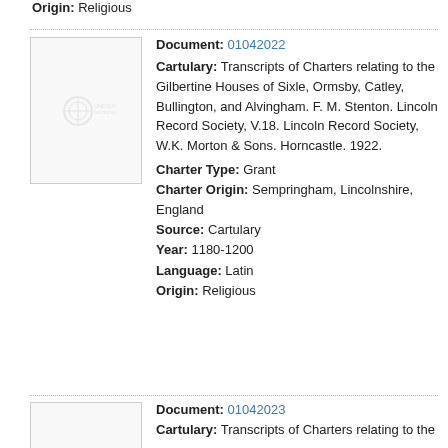Origin: Religious
Document: 01042022
[Figure (logo): Thumbnail placeholder with faint logo]
Cartulary: Transcripts of Charters relating to the Gilbertine Houses of Sixle, Ormsby, Catley, Bullington, and Alvingham. F. M. Stenton. Lincoln Record Society, V.18. Lincoln Record Society, W.K. Morton & Sons. Horncastle. 1922.
Charter Type: Grant
Charter Origin: Sempringham, Lincolnshire, England
Source: Cartulary
Year: 1180-1200
Language: Latin
Origin: Religious
Document: 01042023
[Figure (photo): Thumbnail placeholder]
Cartulary: Transcripts of Charters relating to the